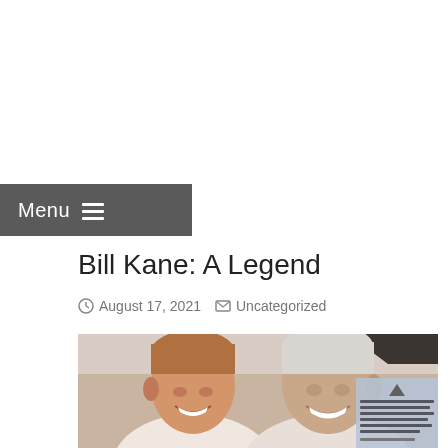Menu
Bill Kane: A Legend
August 17, 2021   Uncategorized
[Figure (photo): Two smiling men posing for a selfie photo, one younger on the left and one older on the right with white hair, with a text overlay box in the bottom right corner containing a quote and the name Patrick Rech]